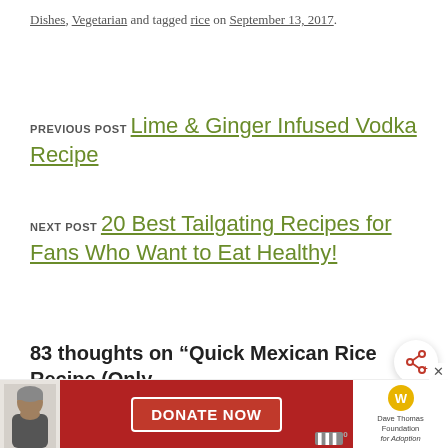Dishes, Vegetarian and tagged rice on September 13, 2017.
PREVIOUS POST Lime & Ginger Infused Vodka Recipe
NEXT POST 20 Best Tailgating Recipes for Fans Who Want to Eat Healthy!
83 thoughts on “Quick Mexican Rice Recipe (Only . Minutes)”
[Figure (other): Share button icon (circle with share symbol)]
[Figure (other): What's Next bar with food thumbnail image and title: Layered Taco Dip Recipe...]
[Figure (other): Advertisement banner: Donate Now for Dave Thomas Foundation for Adoption, with person photo, red donate button, logo, and close/dismiss controls]